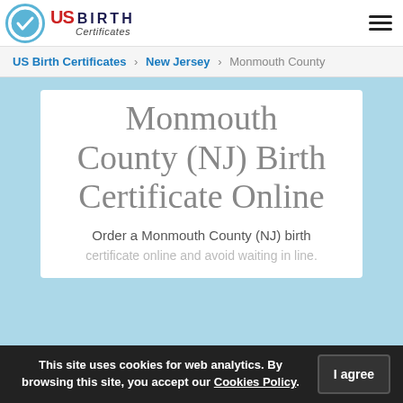US Birth Certificates — logo and navigation header
US Birth Certificates > New Jersey > Monmouth County
Monmouth County (NJ) Birth Certificate Online
Order a Monmouth County (NJ) birth certificate online and avoid waiting in line. Complete an online form to get a certified copy of a Monmouth
This site uses cookies for web analytics. By browsing this site, you accept our Cookies Policy.